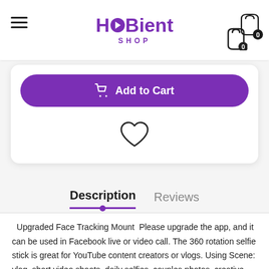[Figure (logo): HUBient SHOP logo with purple text and play button icon]
Add to Cart
[Figure (illustration): Heart/wishlist icon outline]
Description
Reviews
Upgraded Face Tracking Mount  Please upgrade the app, and it can be used in Facebook live or video call. The 360 rotation selfie stick is great for YouTube content creators or vlogs. Using Scene: vlog, short video shoots, daily selfies, couples photos, creative photos, parent-child time, guitar playing, instructional video, etc
3 AA Batteries Included. The automatic face tracking